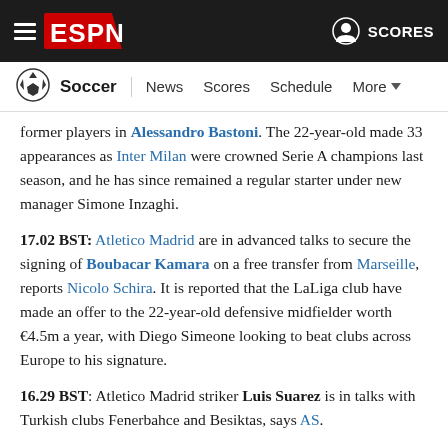ESPN Soccer nav bar with hamburger menu, ESPN logo, user icon, SCORES
Soccer | News  Scores  Schedule  More
former players in Alessandro Bastoni. The 22-year-old made 33 appearances as Inter Milan were crowned Serie A champions last season, and he has since remained a regular starter under new manager Simone Inzaghi.
17.02 BST: Atletico Madrid are in advanced talks to secure the signing of Boubacar Kamara on a free transfer from Marseille, reports Nicolo Schira. It is reported that the LaLiga club have made an offer to the 22-year-old defensive midfielder worth €4.5m a year, with Diego Simeone looking to beat clubs across Europe to his signature.
16.29 BST: Atletico Madrid striker Luis Suarez is in talks with Turkish clubs Fenerbahce and Besiktas, says AS.